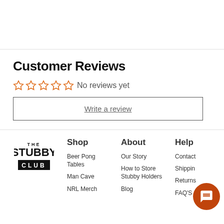Customer Reviews
No reviews yet
Write a review
[Figure (logo): The Stubby Club logo in black text]
Shop
Beer Pong Tables
Man Cave
NRL Merch
About
Our Story
How to Store Stubby Holders
Blog
Help
Contact
Shipping
Returns
FAQ'S